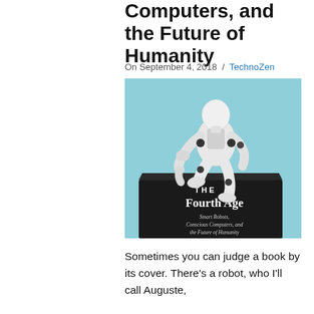Computers, and the Future of Humanity
On September 4, 2018  /  TechnoZen
[Figure (photo): A white humanoid robot sitting in a thinking pose (like Rodin's Thinker) on top of a dark book titled 'THE Fourth Age: Smart Robots, Conscious Computers, and the Future of Humanity', against a light blue background.]
Sometimes you can judge a book by its cover. There's a robot, who I'll call Auguste,